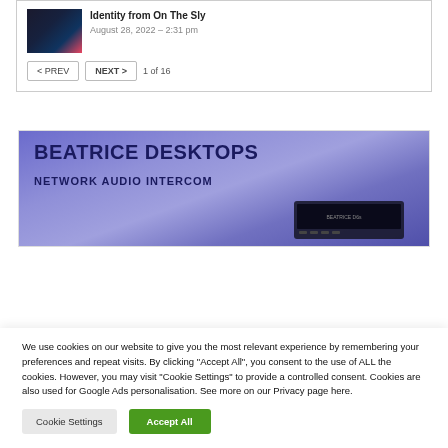Identity from On The Sly
August 28, 2022 – 2:31 pm
< PREV   NEXT >   1 of 16
[Figure (infographic): Beatrice Desktops Network Audio Intercom advertisement banner with purple/blue gradient background and device image]
We use cookies on our website to give you the most relevant experience by remembering your preferences and repeat visits. By clicking "Accept All", you consent to the use of ALL the cookies. However, you may visit "Cookie Settings" to provide a controlled consent. Cookies are also used for Google Ads personalisation. See more on our Privacy page here.
Cookie Settings   Accept All